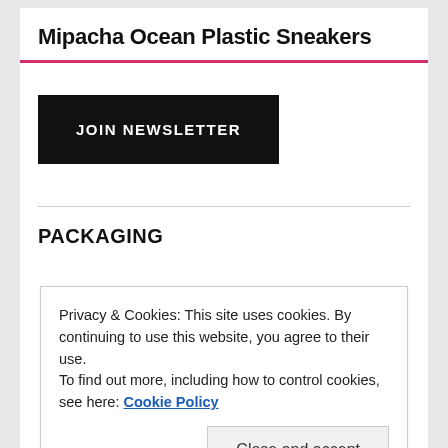Mipacha Ocean Plastic Sneakers
JOIN NEWSLETTER
PACKAGING
[Figure (photo): A collection of colorful plastic bottles and cleaning product containers of various sizes and colors including blue, pink, green, purple, and white.]
Privacy & Cookies: This site uses cookies. By continuing to use this website, you agree to their use.
To find out more, including how to control cookies, see here: Cookie Policy
Close and accept